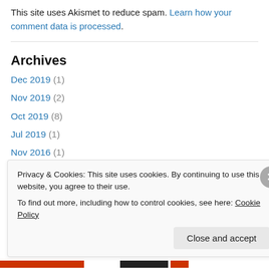This site uses Akismet to reduce spam. Learn how your comment data is processed.
Archives
Dec 2019 (1)
Nov 2019 (2)
Oct 2019 (8)
Jul 2019 (1)
Nov 2016 (1)
Oct 2016 (3)
Sep 2016 (4)
Privacy & Cookies: This site uses cookies. By continuing to use this website, you agree to their use. To find out more, including how to control cookies, see here: Cookie Policy